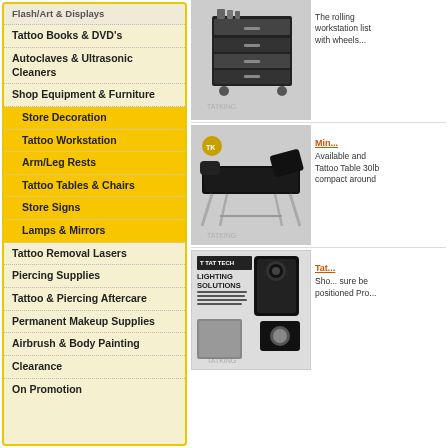Flash/Art & Displays
Tattoo Books & DVD's
Autoclaves & Ultrasonic Cleaners
Shop Equipment & Furniture
Store Decoration
Tattoo Workstation
Arm/Leg Rests
Tattoo Tables & Chairs
Store Signs
Lamps & Mirrors
Tattoo Removal Lasers
Piercing Supplies
Tattoo & Piercing Aftercare
Permanent Makeup Supplies
Airbrush & Body Painting
Clearance
On Promotion
[Figure (photo): Black tattoo workstation/rolling cart with multiple drawers and storage compartments]
The rolling workstation list with wheels...
[Figure (photo): Black portable massage/tattoo table with aluminum legs]
Min... Available and Tattoo Table 30lb compact around
[Figure (photo): Tat Tech Lighting Solutions product - phone mount and LED light accessory]
Tat... Shop sure be positioned Pro...